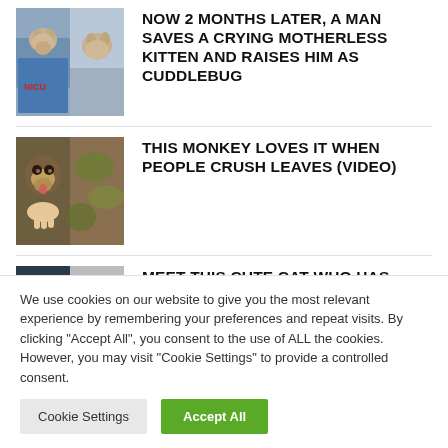[Figure (photo): Split thumbnail image showing two views of a kitten wrapped in fabric]
NOW 2 MONTHS LATER, A MAN SAVES A CRYING MOTHERLESS KITTEN AND RAISES HIM AS CUDDLEBUG
[Figure (photo): Split thumbnail image showing a monkey licking/eating from a hand]
THIS MONKEY LOVES IT WHEN PEOPLE CRUSH LEAVES (VIDEO)
[Figure (photo): Split thumbnail image showing a cat with blue eyes and long tongue]
MEET THIS CUTE CAT WHO HAS GORGEOUS EYES AND LONG TONGUE- YOU MAY FALL IN
We use cookies on our website to give you the most relevant experience by remembering your preferences and repeat visits. By clicking “Accept All”, you consent to the use of ALL the cookies. However, you may visit "Cookie Settings" to provide a controlled consent.